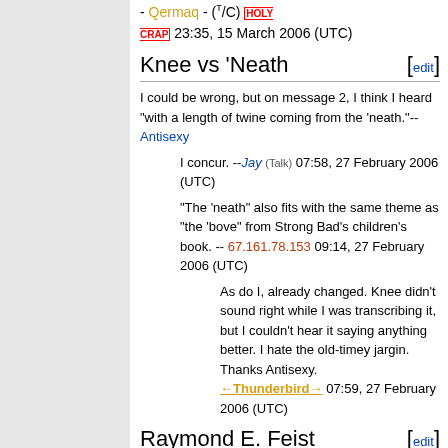- Qermaq - (T/C) HOLY CRAP 23:35, 15 March 2006 (UTC)
Knee vs 'Neath [edit]
I could be wrong, but on message 2, I think I heard "with a length of twine coming from the 'neath."--Antisexy
I concur. --Jay (Talk) 07:58, 27 February 2006 (UTC)
"The 'neath" also fits with the same theme as "the 'bove" from Strong Bad's children's book. -- 67.161.78.153 09:14, 27 February 2006 (UTC)
As do I, already changed. Knee didn't sound right while I was transcribing it, but I couldn't hear it saying anything better. I hate the old-timey jargin. Thanks Antisexy. ←Thunderbird→ 07:59, 27 February 2006 (UTC)
Raymond E. Feist [edit]